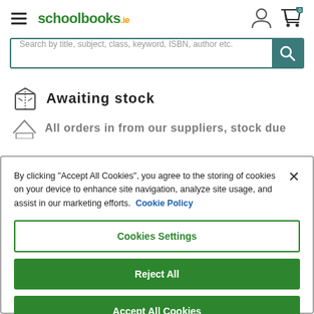[Figure (screenshot): schoolbooks.ie website header with hamburger menu, logo, user icon, and cart with 0 badge]
[Figure (screenshot): Search bar with placeholder text 'Search by title, subject, class, keyword, ISBN, author etc.' and teal search button]
Awaiting stock
By clicking "Accept All Cookies", you agree to the storing of cookies on your device to enhance site navigation, analyze site usage, and assist in our marketing efforts.  Cookie Policy
Cookies Settings
Reject All
Accept All Cookies